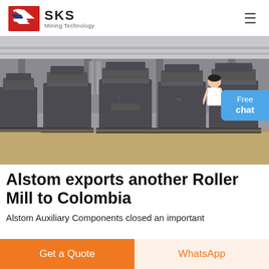SKS Mining Technology
[Figure (photo): Industrial warehouse interior showing several large dark grey vertical roller mills/grinding machines lined up on the factory floor, with steel columns and roof structure visible in the background.]
Alstom exports another Roller Mill to Colombia
Alstom Auxiliary Components closed an important